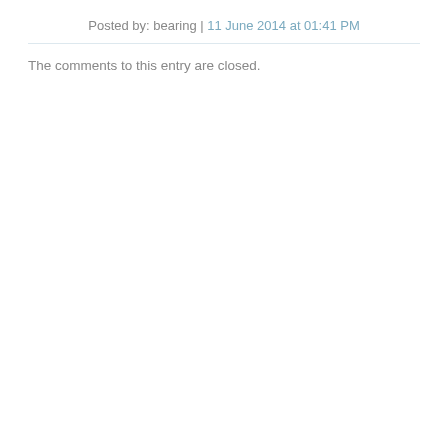Posted by: bearing | 11 June 2014 at 01:41 PM
The comments to this entry are closed.